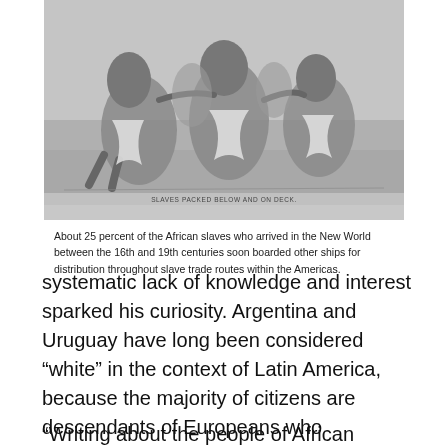[Figure (illustration): Black and white engraving/illustration showing enslaved people packed on a ship. Caption at bottom reads: SLAVES PACKED BELOW AND ON DECK.]
About 25 percent of the African slaves who arrived in the New World between the 16th and 19th centuries soon boarded other ships for distribution throughout slave trade routes within the Americas.
systematic lack of knowledge and interest sparked his curiosity. Argentina and Uruguay have long been considered “white” in the context of Latin America, because the majority of citizens are descendants of Europeans who immigrated during the late 19th century to the mid-20th century.
“Writing about the people of African ancestry in these